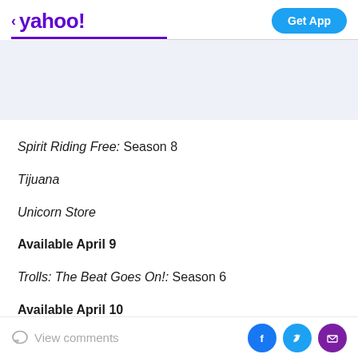< yahoo!   Get App
[Figure (other): Light blue-gray advertisement banner area]
Spirit Riding Free: Season 8
Tijuana
Unicorn Store
Available April 9
Trolls: The Beat Goes On!: Season 6
Available April 10
View comments  [Facebook] [Twitter] [Email]